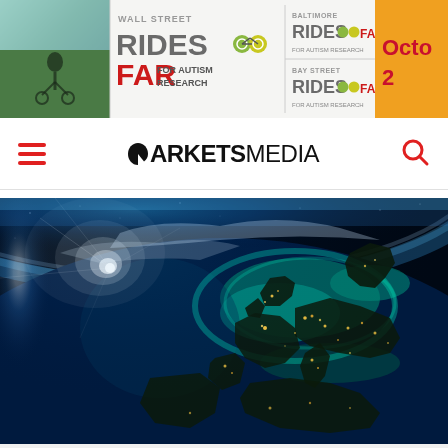[Figure (other): Banner advertisement: Wall Street Rides Far For Autism Research, Baltimore Rides Far, Bay Street Rides Far. Orange block showing 'Octo 2' (October 20-something). Background photo of a cyclist.]
MARKETS MEDIA
[Figure (photo): Aerial/satellite night view of Europe from space showing city lights, coastlines glowing teal/green, dark landmasses with golden city lights, dramatic blue atmosphere and sunlight on the horizon.]